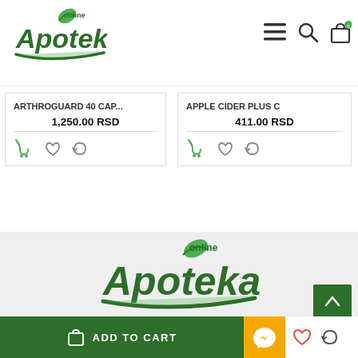[Figure (logo): Online Apoteka green logo with leaf icon, top-left header area]
[Figure (screenshot): Header nav icons: hamburger menu, search magnifier, shopping bag with badge 0]
ARTHROGUARD 40 CAP...
1,250.00 RSD
APPLE CIDER PLUS C
411.00 RSD
[Figure (logo): Online Apoteka large green logo centered in gray footer section]
ADD TO CART